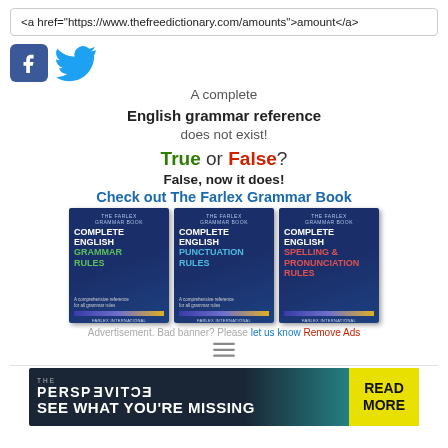<a href="https://www.thefreedictionary.com/amounts">amount</a>
[Figure (logo): Facebook and Twitter social media icons]
A complete
English grammar reference
does not exist!
True or False?
False, now it does!
Check out The Farlex Grammar Book
[Figure (photo): Three books: Complete English Grammar Rules, Complete English Punctuation Rules, Complete English Spelling & Pronunciation Rules]
Advertisement. Bad banner? Please let us know Remove Ads
[Figure (screenshot): Bottom advertisement banner: THE PERSPECTIVE - SEE WHAT YOU'RE MISSING - READ MORE]